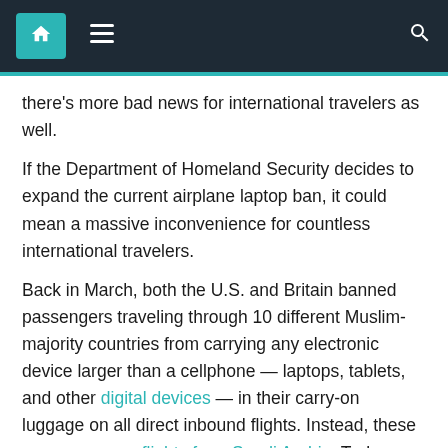Navigation bar with home, menu, and search icons
there's more bad news for international travelers as well.
If the Department of Homeland Security decides to expand the current airplane laptop ban, it could mean a massive inconvenience for countless international travelers.
Back in March, both the U.S. and Britain banned passengers traveling through 10 different Muslim-majority countries from carrying any electronic device larger than a cellphone — laptops, tablets, and other digital devices — in their carry-on luggage on all direct inbound flights. Instead, these passengers on flights from Saudi Arabia, Turkey, Qatar, the UAE, and others are required to pack these devices away in their checked baggage. The ban was based on intelligence that reported that the jihadist Islamic State was in the process of developing a bomb that could be placed in portable devices that resemble laptops and can go